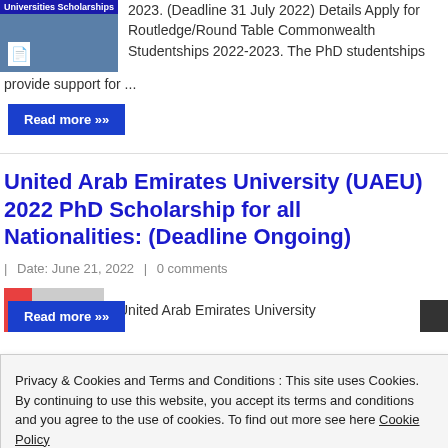[Figure (screenshot): Thumbnail image for Universities Scholarships article with blue background and document icon]
2023. (Deadline 31 July 2022) Details Apply for Routledge/Round Table Commonwealth Studentships 2022-2023. The PhD studentships provide support for ...
Read more »
United Arab Emirates University (UAEU) 2022 PhD Scholarship for all Nationalities: (Deadline Ongoing)
| Date: June 21, 2022 | 0 comments
[Figure (photo): Article thumbnail with red block and grey area]
United Arab Emirates University
Privacy & Cookies and Terms and Conditions : This site uses Cookies. By continuing to use this website, you accept its terms and conditions and you agree to the use of cookies. To find out more see here Cookie Policy
Close and accept
Read more »